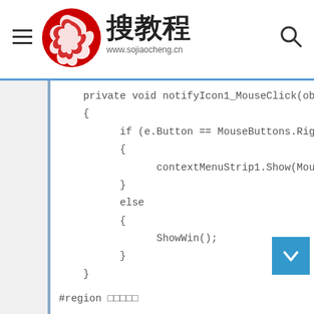搜教程 www.sojiaocheng.cn
[Figure (screenshot): Code block showing C# method notifyIcon1_MouseClick with if/else checking e.Button == MouseButtons.Right, calling contextMenuStrip1.Show(MousePosition) or ShowWin(), followed by #region directive]
#region □□□□□